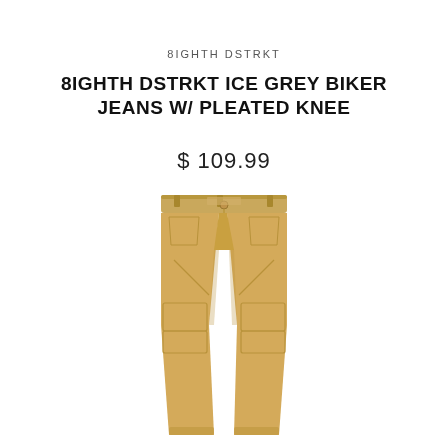8IGHTH DSTRKT
8IGHTH DSTRKT ICE GREY BIKER JEANS W/ PLEATED KNEE
$ 109.99
[Figure (photo): Tan/khaki colored biker jeans with pleated knee panels, front view, laid flat on white background]